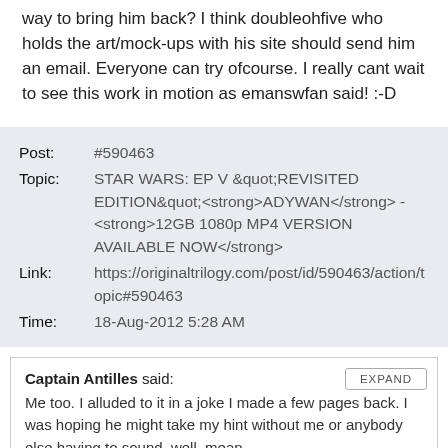way to bring him back? I think doubleohfive who holds the art/mock-ups with his site should send him an email. Everyone can try ofcourse. I really cant wait to see this work in motion as emanswfan said! :-D
| Post: | #590463 |
| Topic: | STAR WARS: EP V &quot;REVISITED EDITION&quot;<strong>ADYWAN</strong> - <strong>12GB 1080p MP4 VERSION AVAILABLE NOW</strong> |
| Link: | https://originaltrilogy.com/post/id/590463/action/topic#590463 |
| Time: | 18-Aug-2012 5:28 AM |
Captain Antilles said: Me too. I alluded to it in a joke I made a few pages back. I was hoping he might take my hint without me or anybody else having to sound, well, mean.